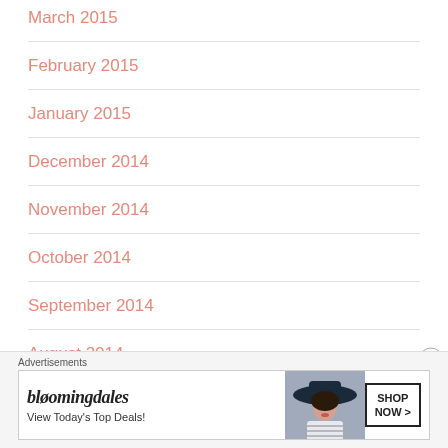March 2015
February 2015
January 2015
December 2014
November 2014
October 2014
September 2014
August 2014
[Figure (other): Bloomingdale's advertisement banner: 'bloomingdales - View Today's Top Deals!' with SHOP NOW > button and woman in wide-brim hat photo]
Advertisements